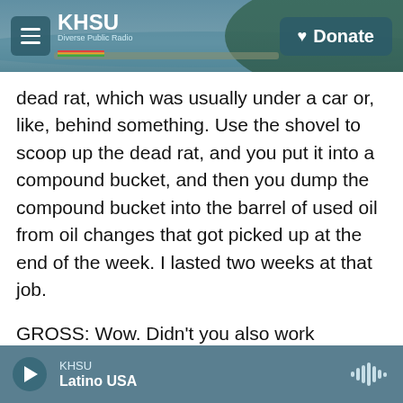KHSU | Donate
dead rat, which was usually under a car or, like, behind something. Use the shovel to scoop up the dead rat, and you put it into a compound bucket, and then you dump the compound bucket into the barrel of used oil from oil changes that got picked up at the end of the week. I lasted two weeks at that job.
GROSS: Wow. Didn't you also work managing a strip club?
DESUS NICE: I did. I - see? That's how wild my life is. That's not even, like, a job I think of off the top of
KHSU | Latino USA